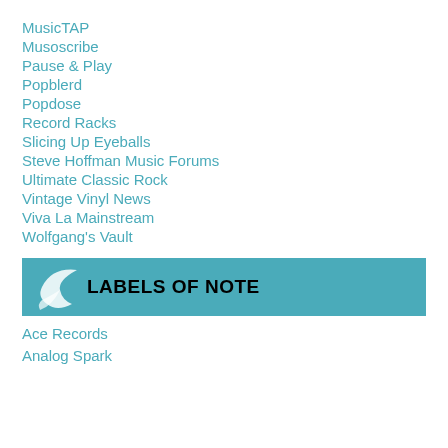MusicTAP
Musoscribe
Pause & Play
Popblerd
Popdose
Record Racks
Slicing Up Eyeballs
Steve Hoffman Music Forums
Ultimate Classic Rock
Vintage Vinyl News
Viva La Mainstream
Wolfgang's Vault
LABELS OF NOTE
Ace Records
Analog Spark